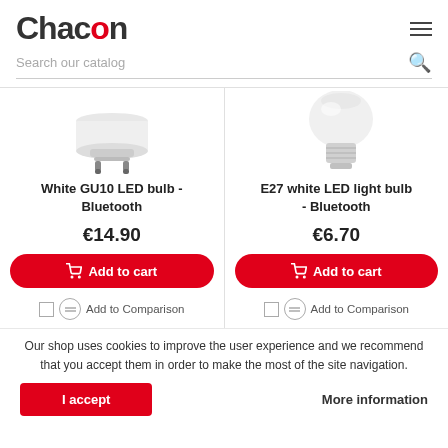Chacon
Search our catalog
[Figure (photo): White GU10 LED bulb product image showing a white cup-shaped bulb with metal pins at the bottom]
White GU10 LED bulb - Bluetooth
€14.90
Add to cart
Add to Comparison
[Figure (photo): E27 white LED light bulb product image showing a white globe-shaped bulb with E27 screw base]
E27 white LED light bulb - Bluetooth
€6.70
Add to cart
Add to Comparison
Our shop uses cookies to improve the user experience and we recommend that you accept them in order to make the most of the site navigation.
I accept
More information